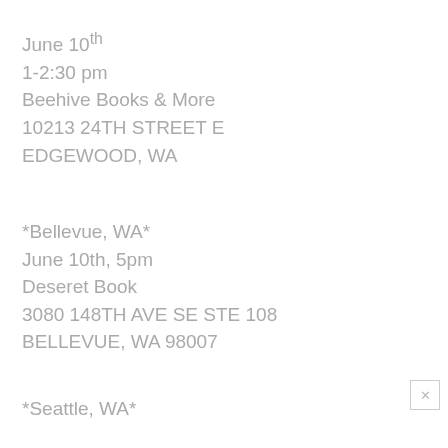June 10th
1-2:30 pm
Beehive Books & More
10213 24TH STREET E
EDGEWOOD, WA
*Bellevue, WA*
June 10th, 5pm
Deseret Book
3080 148TH AVE SE STE 108
BELLEVUE, WA 98007
*Seattle, WA*